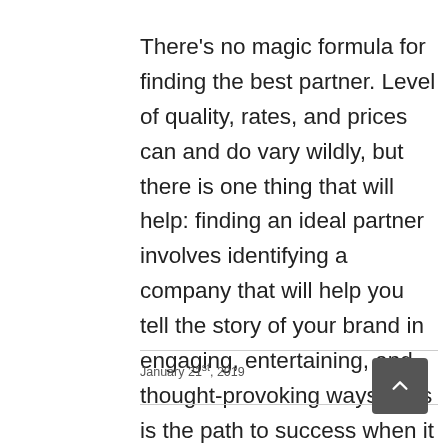There's no magic formula for finding the best partner. Level of quality, rates, and prices can and do vary wildly, but there is one thing that will help: finding an ideal partner involves identifying a company that will help you tell the story of your brand in engaging, entertaining, and thought-provoking ways. This is the path to success when it comes to content marketing.
January 21st, 2019